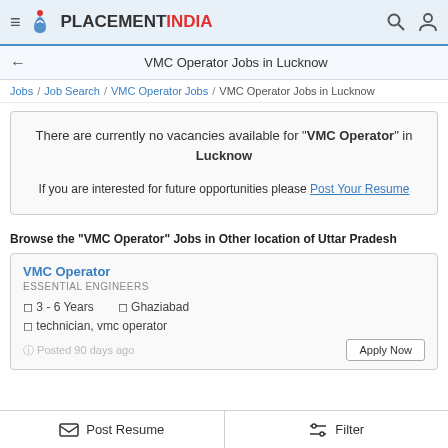PLACEMENT INDIA
VMC Operator Jobs in Lucknow
Jobs / Job Search / VMC Operator Jobs / VMC Operator Jobs in Lucknow
There are currently no vacancies available for "VMC Operator" in Lucknow

If you are interested for future opportunities please Post Your Resume
Browse the "VMC Operator" Jobs in Other location of Uttar Pradesh
VMC Operator
ESSENTIAL ENGINEERS
3 - 6 Years  Ghaziabad
technician, vmc operator
Posted 90 days ago
Post Resume  Filter